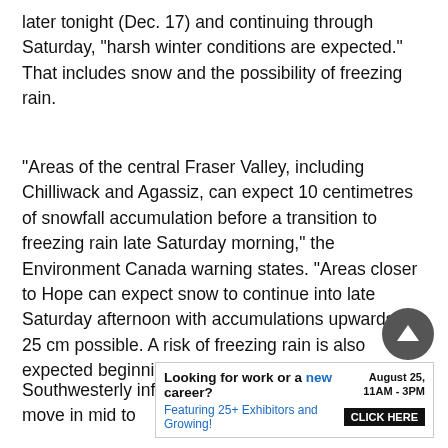later tonight (Dec. 17) and continuing through Saturday, “harsh winter conditions are expected.” That includes snow and the possibility of freezing rain.
“Areas of the central Fraser Valley, including Chilliwack and Agassiz, can expect 10 centimetres of snowfall accumulation before a transition to freezing rain late Saturday morning,” the Environment Canada warning states. “Areas closer to Hope can expect snow to continue into late Saturday afternoon with accumulations upwards of 25 cm possible. A risk of freezing rain is also expected beginning late Saturday morning.”
Southwesterly inflow winds are expected to move in mid to
[Figure (other): Back-to-top circular button with upward arrow]
[Figure (other): Advertisement banner: Looking for work or a new career? August 25, 11AM-3PM. Featuring 25+ Exhibitors and Growing! CLICK HERE]